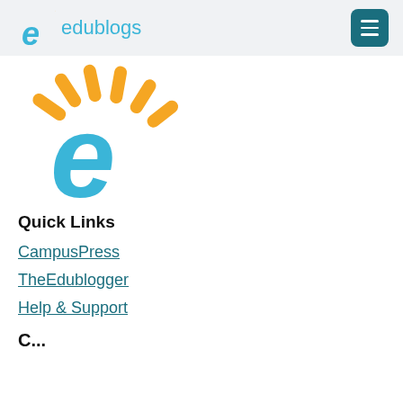edublogs
[Figure (logo): Edublogs logo - large version with orange sunburst rays above a light blue letter 'e']
Quick Links
CampusPress
TheEdublogger
Help & Support
C... (partially visible section header at bottom)